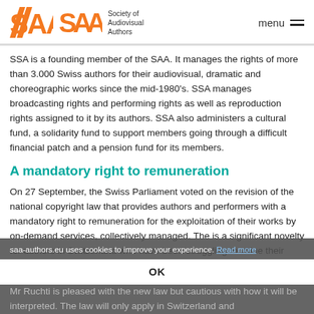SAA – Society of Audiovisual Authors | menu
SSA is a founding member of the SAA. It manages the rights of more than 3.000 Swiss authors for their audiovisual, dramatic and choreographic works since the mid-1980's. SSA manages broadcasting rights and performing rights as well as reproduction rights assigned to it by its authors. SSA also administers a cultural fund, a solidarity fund to support members going through a difficult financial patch and a pension fund for its members.
A mandatory right to remuneration
On 27 September, the Swiss Parliament voted on the revision of the national copyright law that provides authors and performers with a mandatory right to remuneration for the exploitation of their works by on-demand services, collectively managed. The is a significant novelty for authors in Switzerland who have been struggling to value their making available right in their production contract.
Mr Ruchti is pleased with the new law but cautious with how it will be interpreted. The law will only apply in Switzerland and...